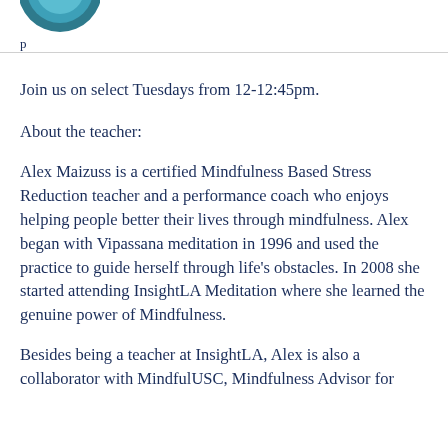[Figure (logo): Partial circular logo with blue teal color, top portion visible]
p
Join us on select Tuesdays from 12-12:45pm.
About the teacher:
Alex Maizuss is a certified Mindfulness Based Stress Reduction teacher and a performance coach who enjoys helping people better their lives through mindfulness. Alex began with Vipassana meditation in 1996 and used the practice to guide herself through life’s obstacles. In 2008 she started attending InsightLA Meditation where she learned the genuine power of Mindfulness.
Besides being a teacher at InsightLA, Alex is also a collaborator with MindfulUSC, Mindfulness Advisor for